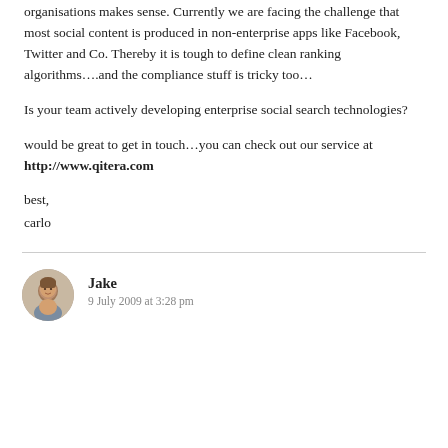organisations makes sense. Currently we are facing the challenge that most social content is produced in non-enterprise apps like Facebook, Twitter and Co. Thereby it is tough to define clean ranking algorithms….and the compliance stuff is tricky too…
Is your team actively developing enterprise social search technologies?
would be great to get in touch…you can check out our service at http://www.qitera.com
best,
carlo
[Figure (photo): Circular avatar photo of Jake, a man]
Jake
9 July 2009 at 3:28 pm